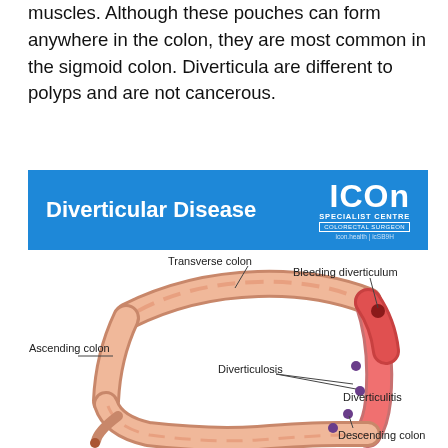muscles. Although these pouches can form anywhere in the colon, they are most common in the sigmoid colon. Diverticula are different to polyps and are not cancerous.
[Figure (infographic): Blue banner with white text 'Diverticular Disease' on left and ICON Specialist Centre Colorectal Surgeon logo on right.]
[Figure (illustration): Medical illustration of the colon showing labeled parts: Transverse colon, Ascending colon, Bleeding diverticulum, Diverticulosis, Diverticulitis, Descending colon.]